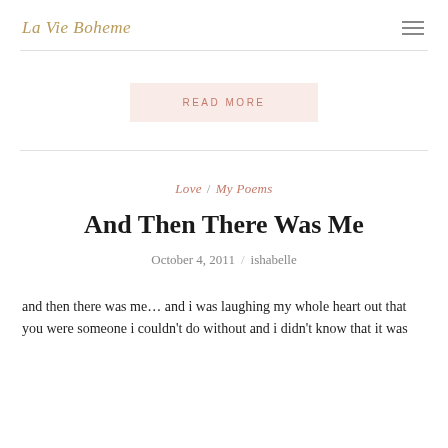La Vie Boheme
READ MORE
Love / My Poems
And Then There Was Me
October 4, 2011 / ishabelle
and then there was me… and i was laughing my whole heart out that you were someone i couldn't do without and i didn't know that it was